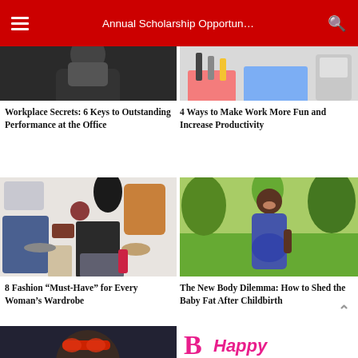Annual Scholarship Opportun…
[Figure (photo): Woman in black top, cropped torso, dark background]
[Figure (photo): Desk with notebook, pencils, laptop – work/study scene]
Workplace Secrets: 6 Keys to Outstanding Performance at the Office
4 Ways to Make Work More Fun and Increase Productivity
[Figure (photo): Flat lay of women's fashion items: shoes, bags, clothes, accessories]
[Figure (photo): Smiling pregnant woman in blue dress standing in a park]
8 Fashion “Must-Have” for Every Woman’s Wardrobe
The New Body Dilemma: How to Shed the Baby Fat After Childbirth
[Figure (photo): Person with red glasses, partially visible, dark background]
[Figure (illustration): Pink letter B with decorative styling, pink script text 'Happy']